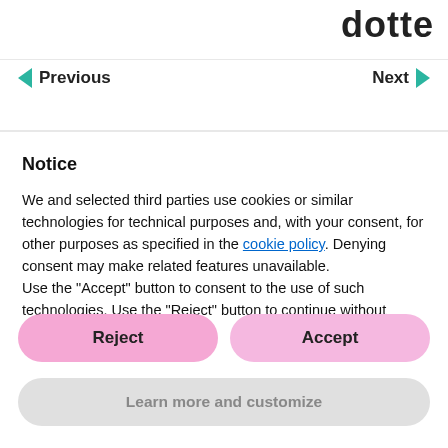dotte
Previous
Next
Notice
We and selected third parties use cookies or similar technologies for technical purposes and, with your consent, for other purposes as specified in the cookie policy. Denying consent may make related features unavailable.
Use the “Accept” button to consent to the use of such technologies. Use the “Reject” button to continue without accepting.
Reject
Accept
Learn more and customize